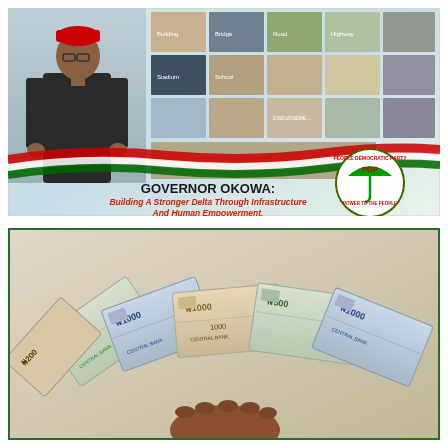[Figure (infographic): Governor Okowa campaign banner with photo of the governor in traditional attire, a grid of infrastructure project photos, Nigerian flag ribbon, PDP logo, and text about building a stronger Delta through infrastructure and human empowerment.]
GOVERNOR OKOWA:
Building A Stronger Delta Through Infrastructure And Human Empowerment.
[Figure (photo): Hand holding a fan of Nigerian naira banknotes (₦1000, ₦500, ₦200 denominations) spread out, showing Central Bank of Nigeria currency.]